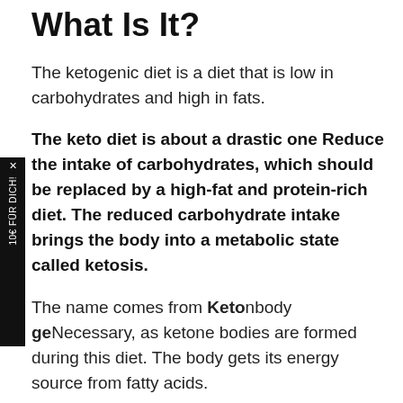What Is It?
The ketogenic diet is a diet that is low in carbohydrates and high in fats.
The keto diet is about a drastic one Reduce the intake of carbohydrates, which should be replaced by a high-fat and protein-rich diet. The reduced carbohydrate intake brings the body into a metabolic state called ketosis.
The name comes from Ketonbody geNecessary, as ketone bodies are formed during this diet. The body gets its energy source from fatty acids.